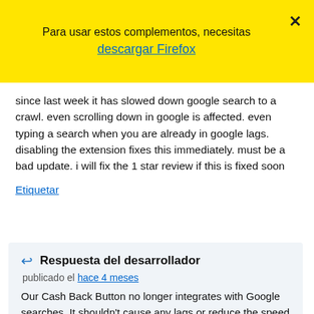Para usar estos complementos, necesitas descargar Firefox
since last week it has slowed down google search to a crawl. even scrolling down in google is affected. even typing a search when you are already in google lags. disabling the extension fixes this immediately. must be a bad update. i will fix the 1 star review if this is fixed soon
Etiquetar
Respuesta del desarrollador
publicado el hace 4 meses
Our Cash Back Button no longer integrates with Google searches. It shouldn't cause any lags or reduce the speed of any searches. We recommend removing our extension and reinstalling it from our website here: Rakuten.com/button.htm If you still notice the lag and slow down after the fresh installation, please email our team at socialhelp@rakuten.com so we can dig into this